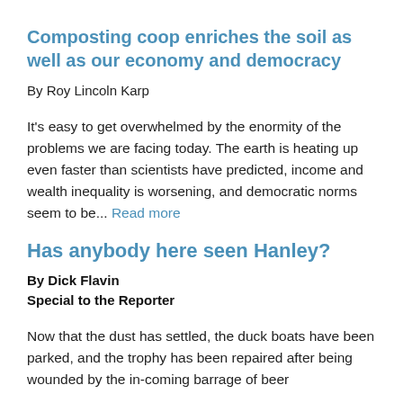Composting coop enriches the soil as well as our economy and democracy
By Roy Lincoln Karp
It's easy to get overwhelmed by the enormity of the problems we are facing today. The earth is heating up even faster than scientists have predicted, income and wealth inequality is worsening, and democratic norms seem to be... Read more
Has anybody here seen Hanley?
By Dick Flavin
Special to the Reporter
Now that the dust has settled, the duck boats have been parked, and the trophy has been repaired after being wounded by the in-coming barrage of beer